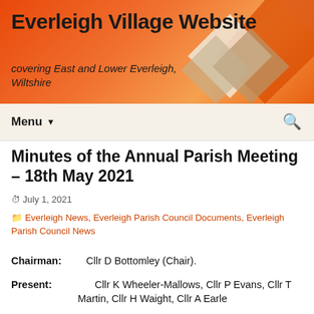Everleigh Village Website
covering East and Lower Everleigh, Wiltshire
Minutes of the Annual Parish Meeting – 18th May 2021
July 1, 2021   Everleigh News, Everleigh Parish Council Documents, Everleigh Parish Council News
Chairman:   Cllr D Bottomley (Chair).
Present:   Cllr K Wheeler-Mallows, Cllr P Evans, Cllr T Martin, Cllr H Waight, Cllr A Earle